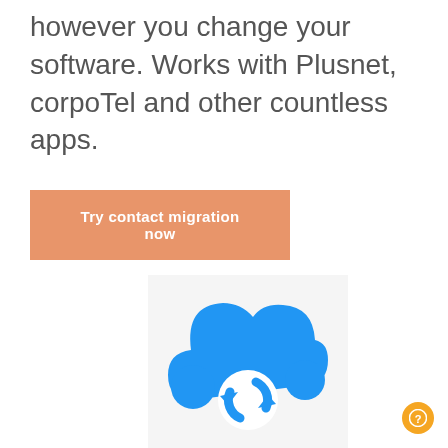however you change your software. Works with Plusnet, corpoTel and other countless apps.
Try contact migration now
[Figure (logo): Blue cloud icon with circular arrows (sync/migration symbol) on a light grey background]